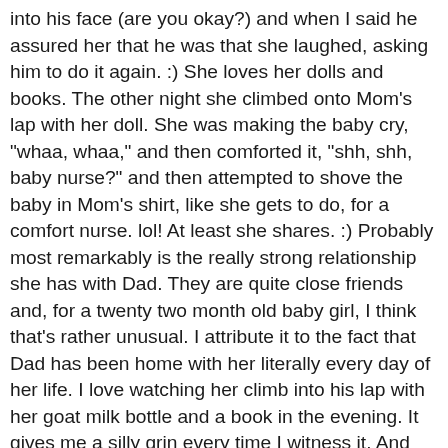into his face (are you okay?) and when I said he assured her that he was that she laughed, asking him to do it again. :) She loves her dolls and books. The other night she climbed onto Mom's lap with her doll. She was making the baby cry, "whaa, whaa," and then comforted it, "shh, shh, baby nurse?" and then attempted to shove the baby in Mom's shirt, like she gets to do, for a comfort nurse. lol! At least she shares. :) Probably most remarkably is the really strong relationship she has with Dad. They are quite close friends and, for a twenty two month old baby girl, I think that's rather unusual. I attribute it to the fact that Dad has been home with her literally every day of her life. I love watching her climb into his lap with her goat milk bottle and a book in the evening. It gives me a silly grin every time I witness it. And also I think because of their relationship, her brothers are really good with her, too, playing, teasing, torturing, you know... I am continually amazed at the life she has. I mean, what other baby thoroughly enjoys every member of her family all day every day? Gets to ride the pony, carry the kitty, pet the bunny, every day? Walk through the garden clinging to Mom's finger and munching away at one fresh veggie or fruit after another? Who, every night, goes on a multiple mile long bike ride with all her siblings laughing